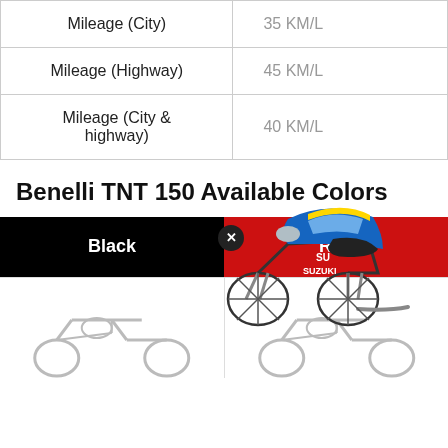|  |  |
| --- | --- |
| Mileage (City) | 35 KM/L |
| Mileage (Highway) | 45 KM/L |
| Mileage (City &
highway) | 40 KM/L |
Benelli TNT 150 Available Colors
[Figure (infographic): Color options for Benelli TNT 150: Black and Red color bands with a blue Suzuki motorcycle image overlapping from the right side, and small bike thumbnails at the bottom.]